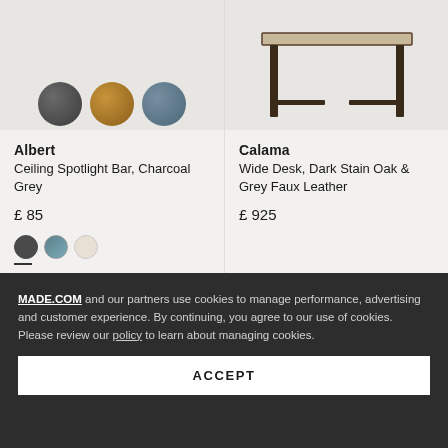[Figure (photo): Albert ceiling spotlight bar with charcoal grey, gold, and teal spotlight heads visible from below]
Albert
Ceiling Spotlight Bar, Charcoal Grey
£ 85
[Figure (photo): Calama wide desk with dark stain oak top and dark metal legs]
Calama
Wide Desk, Dark Stain Oak & Grey Faux Leather
£ 925
MADE.COM and our partners use cookies to manage performance, advertising and customer experience. By continuing, you agree to our use of cookies. Please review our policy to learn about managing cookies.
ACCEPT